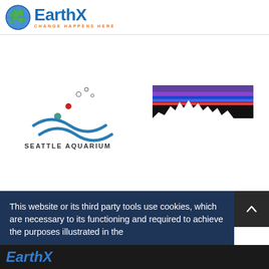[Figure (logo): EarthX logo with globe icon and tagline CHANGE HAPPENS HERE]
[Figure (logo): Seattle Aquarium logo with wave and bubble design]
[Figure (logo): Patagonia logo with mountain silhouette and colored sky bands]
This website or its third party tools use cookies, which are necessary to its functioning and required to achieve the purposes illustrated in the
Decline
Allow Cookies
[Figure (logo): EarthX bottom logo in blue italic on dark background]
English